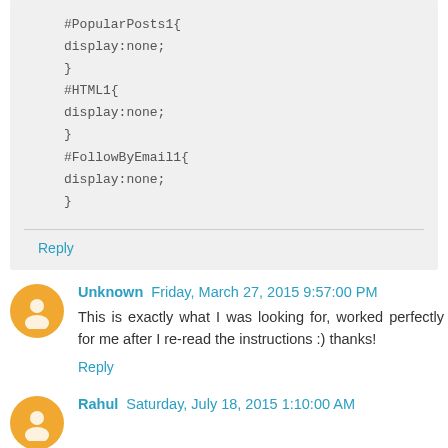#PopularPosts1{
display:none;
}
#HTML1{
display:none;
}
#FollowByEmail1{
display:none;
}
Reply
Unknown  Friday, March 27, 2015 9:57:00 PM
This is exactly what I was looking for, worked perfectly for me after I re-read the instructions :) thanks!
Reply
Rahul  Saturday, July 18, 2015 1:10:00 AM